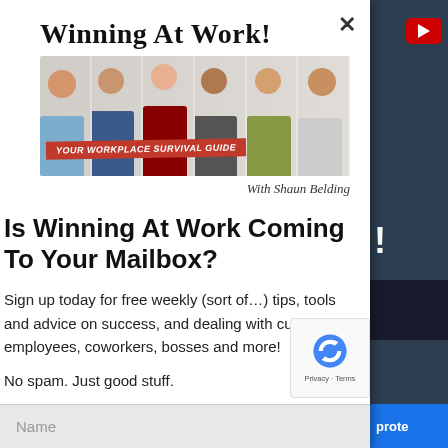[Figure (illustration): Winning At Work! banner with group photo of six smiling people and 'Your Workplace Survival Guide' text in red, with Shaun Belding credit below]
Is Winning At Work Coming To Your Mailbox?
Sign up today for free weekly (sort of…) tips, tools and advice on success, and dealing with customers, employees, coworkers, bosses and more!
No spam. Just good stuff.
Name